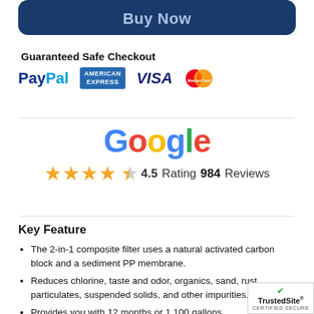[Figure (other): Buy Now button (dark blue rounded rectangle)]
Guaranteed Safe Checkout
[Figure (logo): Payment logos: PayPal, American Express, Visa, MasterCard]
[Figure (logo): Google logo with star rating: 4.5 Rating, 984 Reviews]
Key Feature
The 2-in-1 composite filter uses a natural activated carbon block and a sediment PP membrane.
Reduces chlorine, taste and odor, organics, sand, rust, particulates, suspended solids, and other impurities.
Provides you with 12 months or 1,100 gallons
[Figure (logo): TrustedSite CERTIFIED SECURE badge]